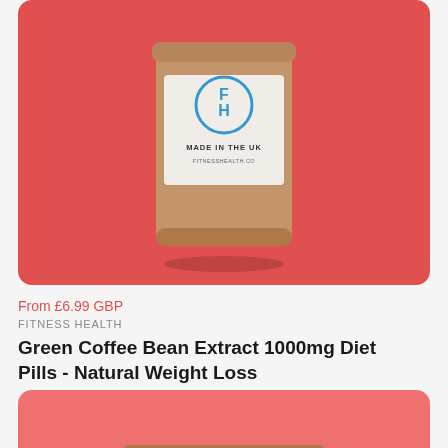[Figure (photo): Product photo of a kraft paper jar with white label showing a logo and 'MADE IN THE UK / FITNESSHEALTH.CO' text on a red/coral background]
From £6.99 GBP
FITNESS HEALTH
Green Coffee Bean Extract 1000mg Diet Pills - Natural Weight Loss
[Figure (photo): Product photo of a kraft paper flat pouch/bag on a coral/salmon pink background, partially visible at bottom of page]